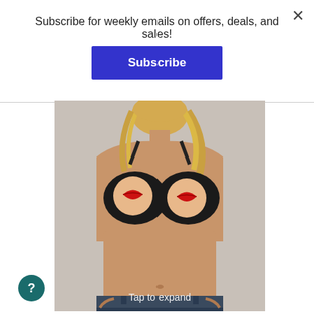Subscribe for weekly emails on offers, deals, and sales!
Subscribe
[Figure (photo): Woman wearing a black bra with circular lip-print pasties, cropped at torso, wearing dark jeans]
Tap to expand